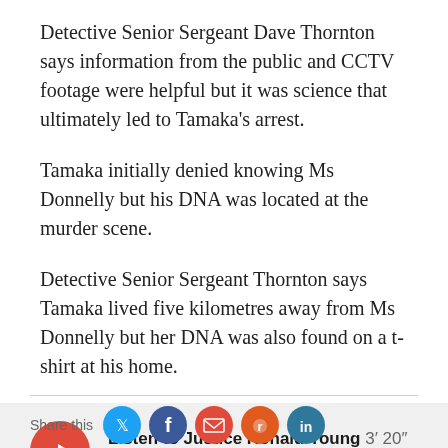Detective Senior Sergeant Dave Thornton says information from the public and CCTV footage were helpful but it was science that ultimately led to Tamaka's arrest.
Tamaka initially denied knowing Ms Donnelly but his DNA was located at the murder scene.
Detective Senior Sergeant Thornton says Tamaka lived five kilometres away from Ms Donnelly but her DNA was also found on a t-shirt at his home.
[Figure (other): Audio player widget with red play button. Title: 'Listen to Justice Ronald Young 3′ 20″'. Links: Playlist | Download]
Share this